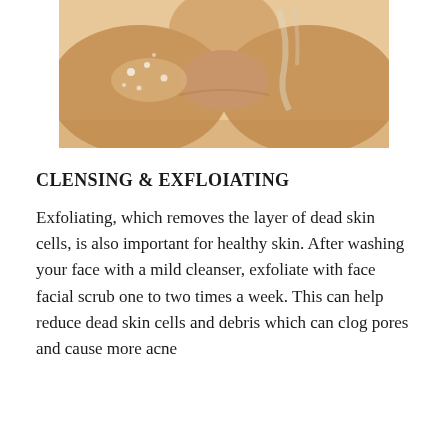[Figure (photo): Photograph of a person's neck and shoulders, appearing to be washing or exfoliating skin, with a warm/beige background and water or scrub visible on skin.]
CLENSING & EXFLOIATING
Exfoliating, which removes the layer of dead skin cells, is also important for healthy skin. After washing your face with a mild cleanser, exfoliate with face facial scrub one to two times a week. This can help reduce dead skin cells and debris which can clog pores and cause more acne